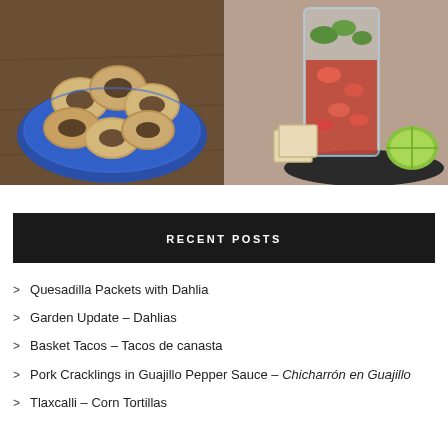[Figure (photo): Two food photos side by side: left shows ring-shaped cookies/bread on a blue plate on a wooden table; right shows a tall glass of seafood cocktail with crackers and lime on a dark plate]
RECENT POSTS
Quesadilla Packets with Dahlia
Garden Update – Dahlias
Basket Tacos – Tacos de canasta
Pork Cracklings in Guajillo Pepper Sauce – Chicharrón en Guajillo
Tlaxcalli – Corn Tortillas